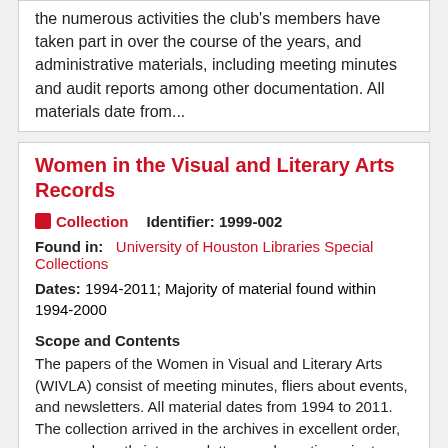the numerous activities the club's members have taken part in over the course of the years, and administrative materials, including meeting minutes and audit reports among other documentation. All materials date from...
Women in the Visual and Literary Arts Records
Collection   Identifier: 1999-002
Found in:   University of Houston Libraries Special Collections
Dates: 1994-2011; Majority of material found within 1994-2000
Scope and Contents
The papers of the Women in Visual and Literary Arts (WIVLA) consist of meeting minutes, fliers about events, and newsletters. All material dates from 1994 to 2011. The collection arrived in the archives in excellent order, arranged neatly into newsletters and meeting minutes, which were filed and arranged chronologically. The collection has been broken into